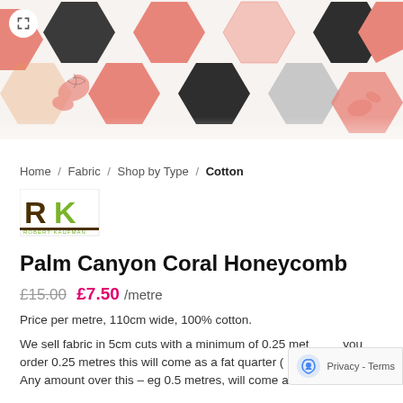[Figure (photo): Fabric swatch showing hexagonal honeycomb pattern with coral/pink, dark charcoal/black, and light grey hexagons on a white background, with some floral elements]
Home / Fabric / Shop by Type / Cotton
[Figure (logo): Robert Kaufman logo - RK letters in brown and olive green with 'ROBERT KAUFMAN' text below]
Palm Canyon Coral Honeycomb
£15.00 £7.50 /metre
Price per metre, 110cm wide, 100% cotton.
We sell fabric in 5cm cuts with a minimum of 0.25 metres. If you order 0.25 metres this will come as a fat quarter (55cm x 55cm). Any amount over this – eg 0.5 metres, will come as